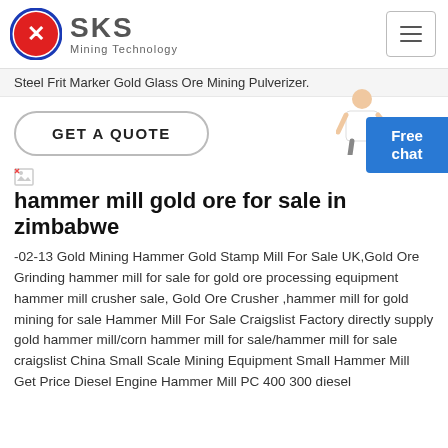[Figure (logo): SKS Mining Technology logo with red circle emblem and text]
Steel Frit Marker Gold Glass Ore Mining Pulverizer.
GET A QUOTE
[Figure (illustration): Person figure with Free chat button]
[Figure (photo): Small broken image icon]
hammer mill gold ore for sale in zimbabwe
-02-13 Gold Mining Hammer Gold Stamp Mill For Sale UK,Gold Ore Grinding hammer mill for sale for gold ore processing equipment hammer mill crusher sale, Gold Ore Crusher ,hammer mill for gold mining for sale Hammer Mill For Sale Craigslist Factory directly supply gold hammer mill/corn hammer mill for sale/hammer mill for sale craigslist China Small Scale Mining Equipment Small Hammer Mill Get Price Diesel Engine Hammer Mill PC 400 300 diesel